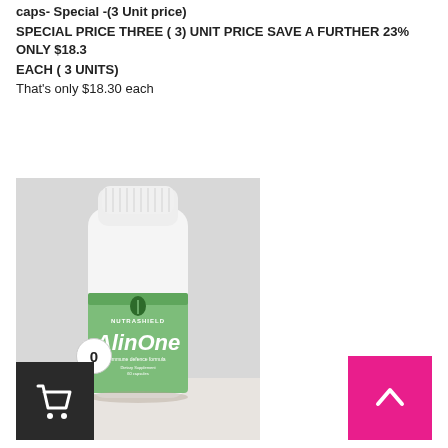caps-  Special -(3 Unit  price)
SPECIAL PRICE  THREE ( 3) UNIT PRICE  SAVE A FURTHER 23% ONLY $18.3
EACH ( 3 UNITS)
That's only $18.30 each
[Figure (photo): NutraShield AlinOne immune defence formula supplement bottle, white plastic bottle with green label, placed on a white surface]